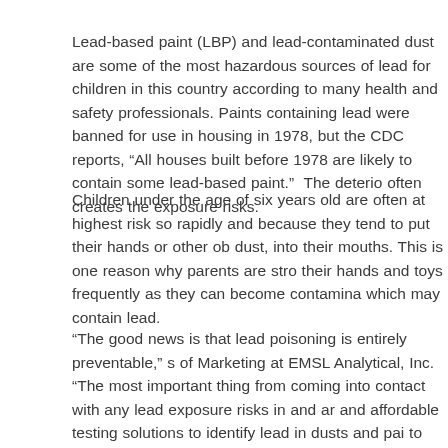Lead-based paint (LBP) and lead-contaminated dust are some of the most hazardous sources of lead for children in this country according to many health and safety professionals. Paints containing lead were banned for use in housing in 1978, but the CDC reports, “All houses built before 1978 are likely to contain some lead-based paint.”  The deterio often creates the exposure risks.
Children under the age of six years old are often at highest risk so rapidly and because they tend to put their hands or other ob dust, into their mouths. This is one reason why parents are stro their hands and toys frequently as they can become contamina which may contain lead.
“The good news is that lead poisoning is entirely preventable,” s of Marketing at EMSL Analytical, Inc. “The most important thing from coming into contact with any lead exposure risks in and ar and affordable testing solutions to identify lead in dusts and pai to take any necessary steps to stop exposures risks, which may that children live and play and any lead found until the lead con